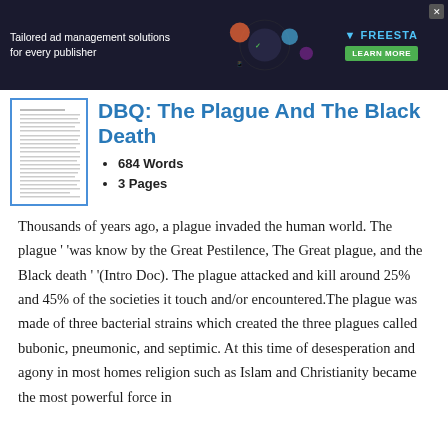[Figure (screenshot): Advertisement banner with dark background showing 'Tailored ad management solutions for every publisher' text, decorative graphic elements, FREESTA logo, and LEARN MORE green button]
[Figure (illustration): Thumbnail preview of a document page]
DBQ: The Plague And The Black Death
684 Words
3 Pages
Thousands of years ago, a plague invaded the human world. The plague ' 'was know by the Great Pestilence, The Great plague, and the Black death ' '(Intro Doc). The plague attacked and kill around 25% and 45% of the societies it touch and/or encountered.The plague was made of three bacterial strains which created the three plagues called bubonic, pneumonic, and septimic. At this time of desesperation and agony in most homes religion such as Islam and Christianity became the most powerful force in